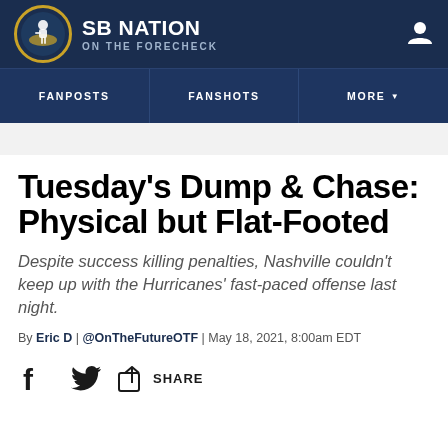SB NATION | ON THE FORECHECK
Tuesday's Dump & Chase: Physical but Flat-Footed
Despite success killing penalties, Nashville couldn't keep up with the Hurricanes' fast-paced offense last night.
By Eric D | @OnTheFutureOTF | May 18, 2021, 8:00am EDT
SHARE